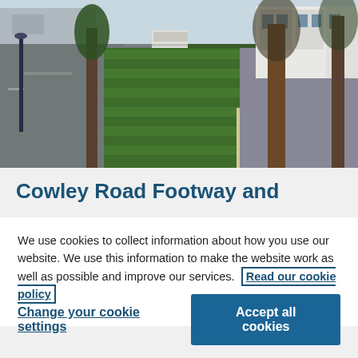[Figure (photo): Street view of Cowley Road showing a grass median strip with mowed stripes, large trees on the right side, white Georgian-style buildings, and a road with parked vehicles in the background.]
Cowley Road Footway and
We use cookies to collect information about how you use our website. We use this information to make the website work as well as possible and improve our services.  Read our cookie policy
Change your cookie settings
Accept all cookies